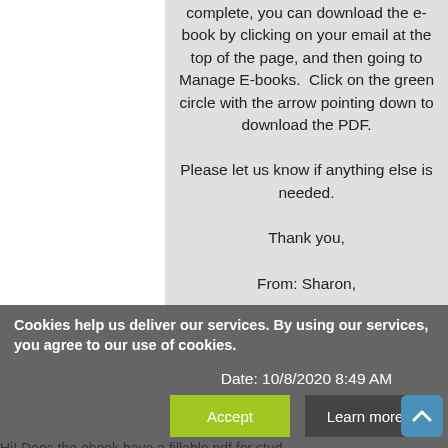complete, you can download the e-book by clicking on your email at the top of the page, and then going to Manage E-books.  Click on the green circle with the arrow pointing down to download the PDF.

Please let us know if anything else is needed.

Thank you,

Evan-Moor Publishing
From: Sharon,
Cookies help us deliver our services. By using our services, you agree to our use of cookies.
Date: 10/8/2020 8:49 AM
Accept
Learn more
Hi! Does the ebook have a fillable pdf for stud